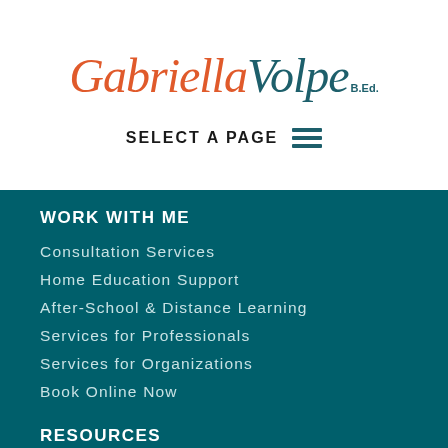[Figure (logo): Gabriella Volpe B.Ed. signature logo with 'Gabriella' in orange cursive and 'Volpe' in teal cursive, 'B.Ed.' in small teal text]
SELECT A PAGE
WORK WITH ME
Consultation Services
Home Education Support
After-School & Distance Learning
Services for Professionals
Services for Organizations
Book Online Now
RESOURCES
Read all articles